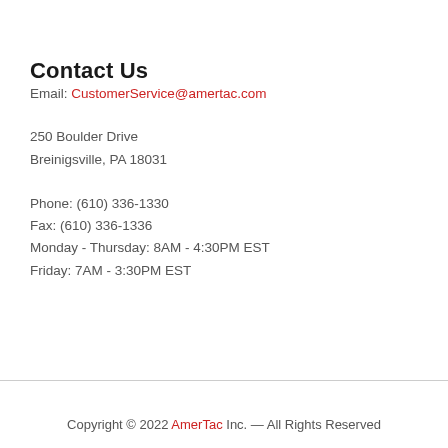Contact Us
Email: CustomerService@amertac.com
250 Boulder Drive
Breinigsville, PA 18031
Phone: (610) 336-1330
Fax: (610) 336-1336
Monday - Thursday: 8AM - 4:30PM EST
Friday: 7AM - 3:30PM EST
Copyright © 2022 AmerTac Inc. — All Rights Reserved